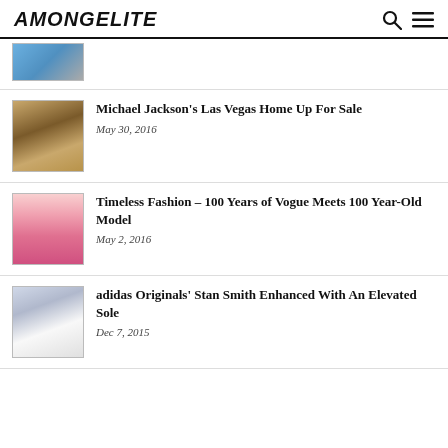AMONGELITE
[Figure (photo): Partial thumbnail of an article image, partially visible at top]
[Figure (photo): Thumbnail image of Michael Jackson's Las Vegas home interior with golden decor]
Michael Jackson’s Las Vegas Home Up For Sale
May 30, 2016
[Figure (photo): Thumbnail of an elderly woman with white hair and glasses wearing a pink top]
Timeless Fashion – 100 Years of Vogue Meets 100 Year-Old Model
May 2, 2016
[Figure (photo): Thumbnail of white adidas Stan Smith shoes with elevated sole]
adidas Originals’ Stan Smith Enhanced With An Elevated Sole
Dec 7, 2015